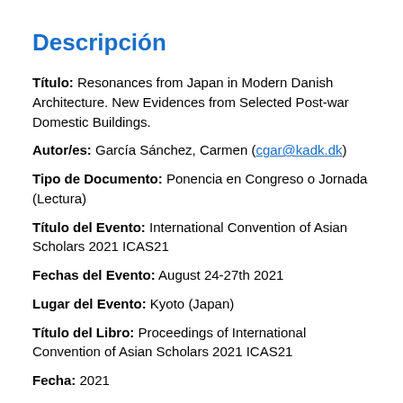Descripción
Título:  Resonances from Japan in Modern Danish Architecture. New Evidences from Selected Post-war Domestic Buildings.
Autor/es:  García Sánchez, Carmen (cgar@kadk.dk)
Tipo de Documento:  Ponencia en Congreso o Jornada (Lectura)
Título del Evento:  International Convention of Asian Scholars 2021 ICAS21
Fechas del Evento:  August 24-27th 2021
Lugar del Evento:  Kyoto (Japan)
Título del Libro:  Proceedings of International Convention of Asian Scholars 2021 ICAS21
Fecha:  2021
Materias:  Arquitectura, Arte, Ingeniería Civil y de la